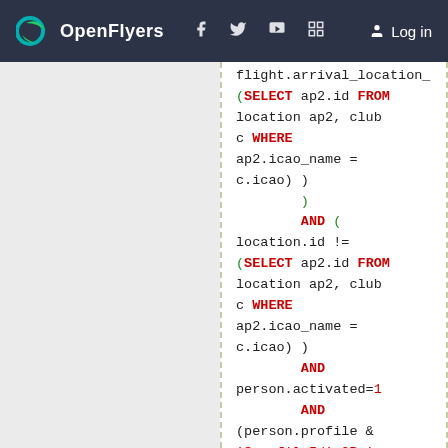OpenFlyers — navigation header with logo, social icons, and Log in
[Figure (screenshot): SQL code block showing a partial query with SELECT, FROM, WHERE, AND, UNION, SUM keywords in red, identifiers in dark, and string literals in red on white background]
SQL code: flight.arrival_location_ (SELECT ap2.id FROM location ap2, club c WHERE ap2.icao_name = c.icao) ) AND ( location.id != (SELECT ap2.id FROM location ap2, club c WHERE ap2.icao_name = c.icao) ) AND person.activated=1 AND (person.profile & '$profileId' OR '-'='$profileId') AND YEAR(flight.start_date) = $year UNION SELECT SUM(landing_number)*2